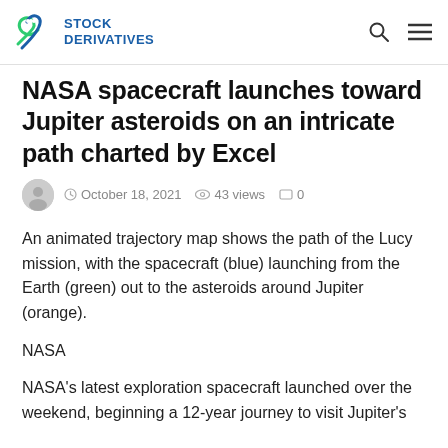STOCK DERIVATIVES
NASA spacecraft launches toward Jupiter asteroids on an intricate path charted by Excel
October 18, 2021  43 views  0
An animated trajectory map shows the path of the Lucy mission, with the spacecraft (blue) launching from the Earth (green) out to the asteroids around Jupiter (orange).
NASA
NASA's latest exploration spacecraft launched over the weekend, beginning a 12-year journey to visit Jupiter's